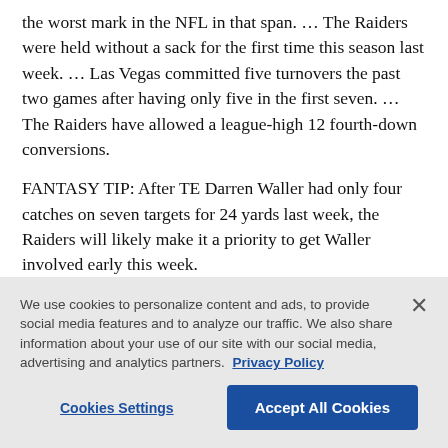the worst mark in the NFL in that span. … The Raiders were held without a sack for the first time this season last week. … Las Vegas committed five turnovers the past two games after having only five in the first seven. … The Raiders have allowed a league-high 12 fourth-down conversions.
FANTASY TIP: After TE Darren Waller had only four catches on seven targets for 24 yards last week, the Raiders will likely make it a priority to get Waller involved early this week.
We use cookies to personalize content and ads, to provide social media features and to analyze our traffic. We also share information about your use of our site with our social media, advertising and analytics partners. Privacy Policy